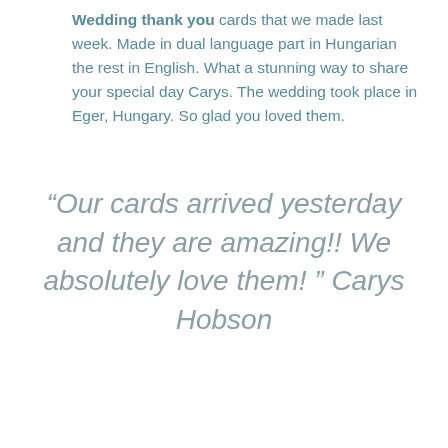Wedding thank you cards that we made last week. Made in dual language part in Hungarian the rest in English. What a stunning way to share your special day Carys. The wedding took place in Eger, Hungary. So glad you loved them.
“Our cards arrived yesterday and they are amazing!! We absolutely love them! ” Carys Hobson